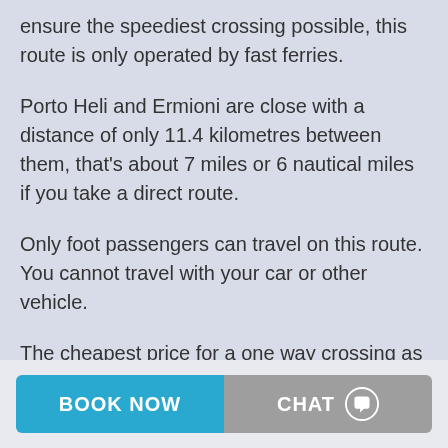ensure the speediest crossing possible, this route is only operated by fast ferries.
Porto Heli and Ermioni are close with a distance of only 11.4 kilometres between them, that's about 7 miles or 6 nautical miles if you take a direct route.
Only foot passengers can travel on this route. You cannot travel with your car or other vehicle.
The cheapest price for a one way crossing as a foot passenger in the summer is about 11